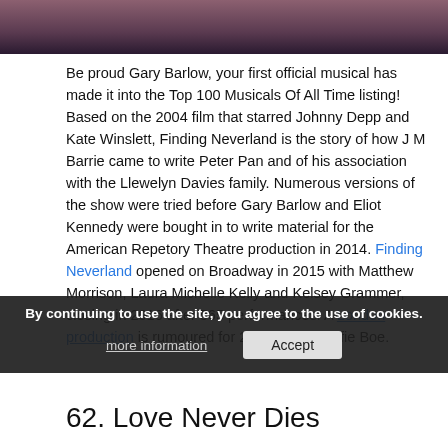[Figure (photo): Partial image strip at top of page showing a theatrical scene with pink/purple tones]
Be proud Gary Barlow, your first official musical has made it into the Top 100 Musicals Of All Time listing! Based on the 2004 film that starred Johnny Depp and Kate Winslett, Finding Neverland is the story of how J M Barrie came to write Peter Pan and of his association with the Llewelyn Davies family. Numerous versions of the show were tried before Gary Barlow and Eliot Kennedy were bought in to write material for the American Repetory Theatre production in 2014. Finding Neverland opened on Broadway in 2015 with Matthew Morrison, Laura Michelle Kelly and Kelsey Grammer, closing in 2016 after 565 performances. A London production is rumoured for 2017 starring Alfie Boe.
By continuing to use the site, you agree to the use of cookies.
62. Love Never Dies